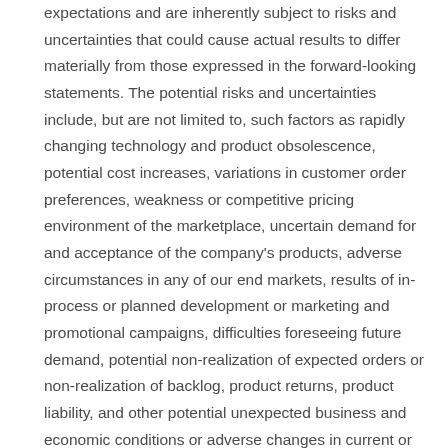expectations and are inherently subject to risks and uncertainties that could cause actual results to differ materially from those expressed in the forward-looking statements. The potential risks and uncertainties include, but are not limited to, such factors as rapidly changing technology and product obsolescence, potential cost increases, variations in customer order preferences, weakness or competitive pricing environment of the marketplace, uncertain demand for and acceptance of the company's products, adverse circumstances in any of our end markets, results of in-process or planned development or marketing and promotional campaigns, difficulties foreseeing future demand, potential non-realization of expected orders or non-realization of backlog, product returns, product liability, and other potential unexpected business and economic conditions or adverse changes in current or expected industry conditions, difficulties and costs of protecting patents and other proprietary rights, inventory obsolescence and difficulties regarding customer